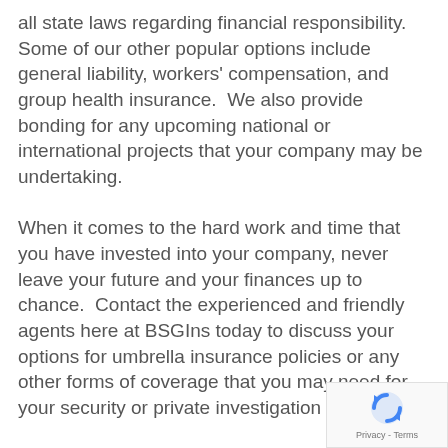all state laws regarding financial responsibility. Some of our other popular options include general liability, workers' compensation, and group health insurance.  We also provide bonding for any upcoming national or international projects that your company may be undertaking.
When it comes to the hard work and time that you have invested into your company, never leave your future and your finances up to chance.  Contact the experienced and friendly agents here at BSGIns today to discuss your options for umbrella insurance policies or any other forms of coverage that you may need for your security or private investigation company.
[Figure (logo): reCAPTCHA badge with spinning arrow icon and Privacy - Terms text]